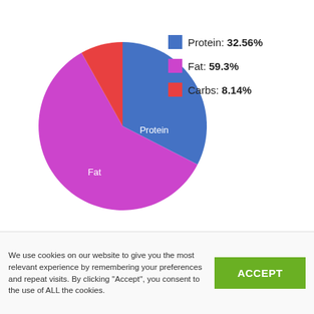[Figure (pie-chart): Macronutrient breakdown]
Ingredients We Liked: Turkey, turkey bone broth
Ingredients We Didn't Like: Red lentils, garbanzo beans, sunflower oil
We use cookies on our website to give you the most relevant experience by remembering your preferences and repeat visits. By clicking ''Accept'', you consent to the use of ALL the cookies.